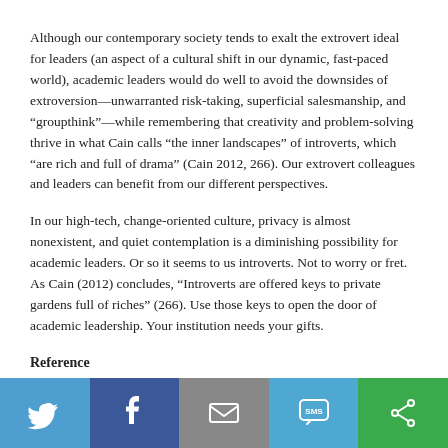Although our contemporary society tends to exalt the extrovert ideal for leaders (an aspect of a cultural shift in our dynamic, fast-paced world), academic leaders would do well to avoid the downsides of extroversion—unwarranted risk-taking, superficial salesmanship, and “groupthink”—while remembering that creativity and problem-solving thrive in what Cain calls “the inner landscapes” of introverts, which “are rich and full of drama” (Cain 2012, 266). Our extrovert colleagues and leaders can benefit from our different perspectives.
In our high-tech, change-oriented culture, privacy is almost nonexistent, and quiet contemplation is a diminishing possibility for academic leaders. Or so it seems to us introverts. Not to worry or fret. As Cain (2012) concludes, “Introverts are offered keys to private gardens full of riches” (266). Use those keys to open the door of academic leadership. Your institution needs your gifts.
Reference